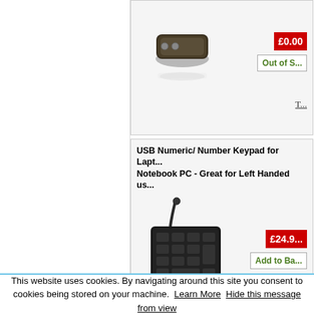[Figure (photo): Battery holder product image - small black rectangular battery holder]
£0.00
Out of S...
T...
USB Numeric/ Number Keypad for Lapt... Notebook PC - Great for Left Handed us...
[Figure (photo): USB numeric keypad - black compact wired keypad]
£24.9...
Add to Ba...
T...
USB Port Blocker Key & 14 Locks- Pre...
This website uses cookies. By navigating around this site you consent to cookies being stored on your machine.
Learn More
Hide this message from view